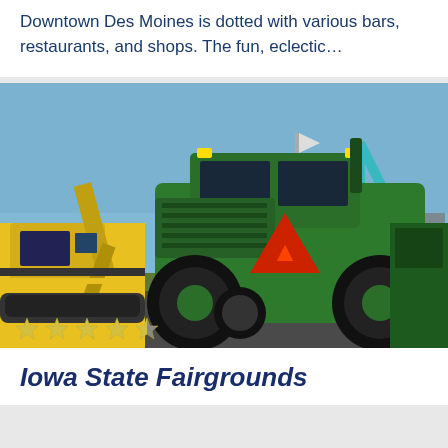Downtown Des Moines is dotted with various bars, restaurants, and shops. The fun, eclectic…
[Figure (photo): Iowa State Fairgrounds scene with a large green John Deere tractor in the foreground, a yellow excavator to the left, carnival rides and fairground structures visible in the background under a blue sky. Four and a half star rating overlay at bottom left.]
Iowa State Fairgrounds